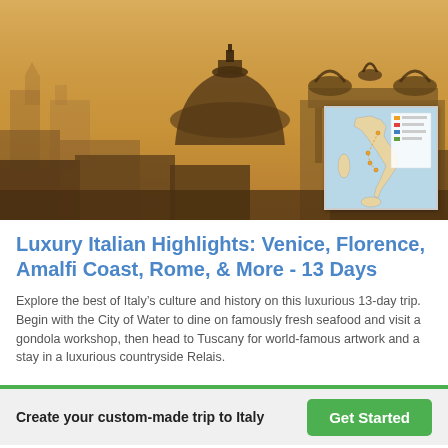[Figure (photo): Panoramic sepia-toned photo of Rome skyline with domes, classical buildings including the Altare della Patria, and a hazy golden atmosphere. An inset map of Italy is overlaid in the bottom-right corner.]
Luxury Italian Highlights: Venice, Florence, Amalfi Coast, Rome, & More - 13 Days
Explore the best of Italy’s culture and history on this luxurious 13-day trip. Begin with the City of Water to dine on famously fresh seafood and visit a gondola workshop, then head to Tuscany for world-famous artwork and a stay in a luxurious countryside Relais.
Create your custom-made trip to Italy
Get Started